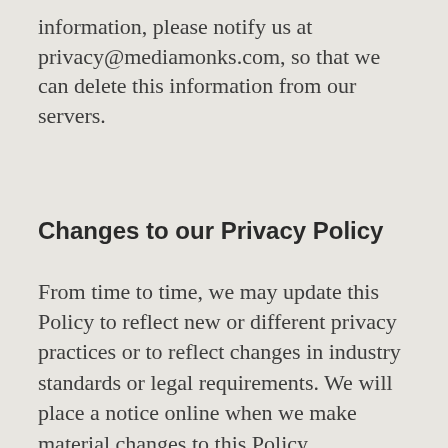information, please notify us at privacy@mediamonks.com, so that we can delete this information from our servers.
Changes to our Privacy Policy
From time to time, we may update this Policy to reflect new or different privacy practices or to reflect changes in industry standards or legal requirements. We will place a notice online when we make material changes to this Policy. Additionally, if the changes will materially affect the way we use or disclose Information, we